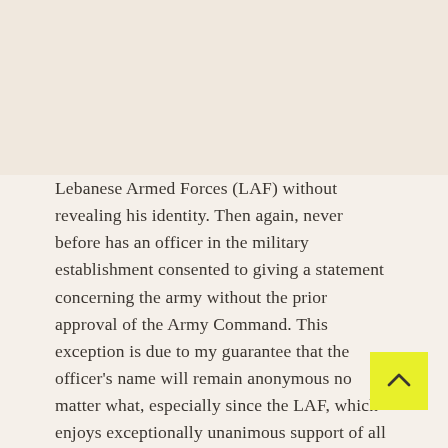Lebanese Armed Forces (LAF) without revealing his identity. Then again, never before has an officer in the military establishment consented to giving a statement concerning the army without the prior approval of the Army Command. This exception is due to my guarantee that the officer's name will remain anonymous no matter what, especially since the LAF, which enjoys exceptionally unanimous support of all segments of Lebanese society, is experiencing unprecedented circumstances.
In light of Lebanon's stifling economic crisis and